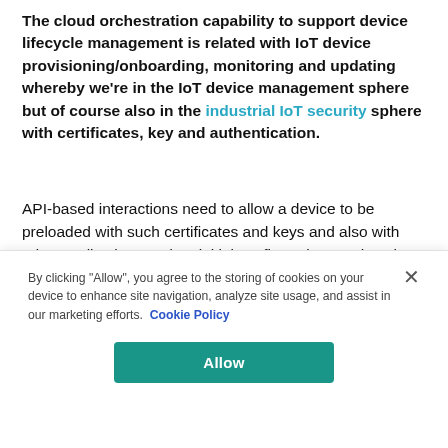The cloud orchestration capability to support device lifecycle management is related with IoT device provisioning/onboarding, monitoring and updating whereby we're in the IoT device management sphere but of course also in the industrial IoT security sphere with certificates, key and authentication.
API-based interactions need to allow a device to be preloaded with such certificates and keys and also with edge applications and an initial configuration MachNation emphasizes. Moreover, edge platforms should be capable to monitor the device using a stream of machine and
By clicking "Allow", you agree to the storing of cookies on your device to enhance site navigation, analyze site usage, and assist in our marketing efforts. Cookie Policy